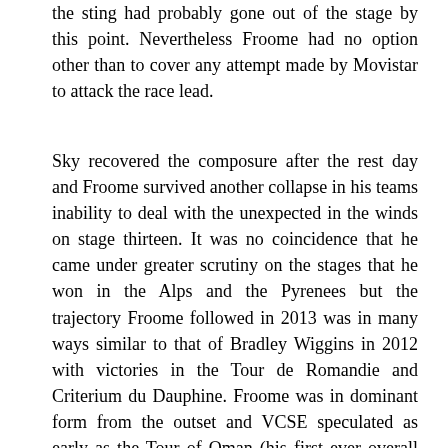the sting had probably gone out of the stage by this point. Nevertheless Froome had no option other than to cover any attempt made by Movistar to attack the race lead.
Sky recovered the composure after the rest day and Froome survived another collapse in his teams inability to deal with the unexpected in the winds on stage thirteen. It was no coincidence that he came under greater scrutiny on the stages that he won in the Alps and the Pyrenees but the trajectory Froome followed in 2013 was in many ways similar to that of Bradley Wiggins in 2012 with victories in the Tour de Romandie and Criterium du Dauphine. Froome was in dominant form from the outset and VCSE speculated as early as the Tour of Oman (his first ever overall stage race victory) that the pattern for the season could be emerging. The only rider who looked able to unsettle Froome on the road in 2013 was Vincenzo Nibabli but other than their early season encounter in